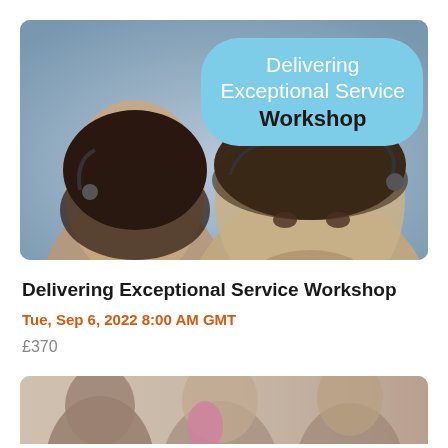[Figure (photo): Two call center workers wearing headsets, a woman on the left and a man on the right with a light blue speech-bubble overlay containing the workshop title text]
Delivering Exceptional Service Workshop
Tue, Sep 6, 2022 8:00 AM GMT
£370
[Figure (photo): Partially visible image of people at the bottom of the page, cropped]